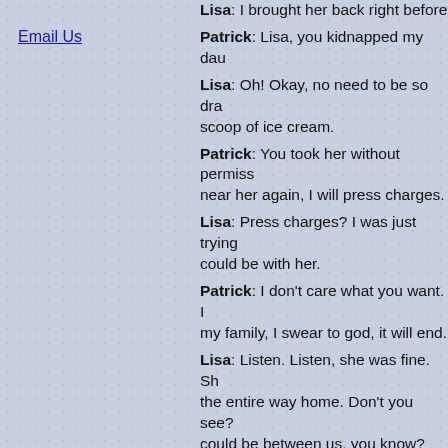Email Us
Lisa: I brought her back right before ...
Patrick: Lisa, you kidnapped my dau...
Lisa: Oh! Okay, no need to be so dra... scoop of ice cream.
Patrick: You took her without permiss... near her again, I will press charges.
Lisa: Press charges? I was just trying... could be with her.
Patrick: I don't care what you want. ... my family, I swear to god, it will end.
Lisa: Listen. Listen, she was fine. Sh... the entire way home. Don't you see?... could be between us, you know? You... be so happy together, if anything eve...
I'm still not sure how one night with Patrick c... personality-free and bland to a stark raving m... this story and Brianna Brown in particular ha... Veryveryvery) low expectations when I hear... road. I found that whole exchange hilarious.... craving something entertaining that I am tryi... better than it really is. All I know is that I am... show, to see if Robin kicks Lisa's giggling as... her way out of it, or if the show decides not t...